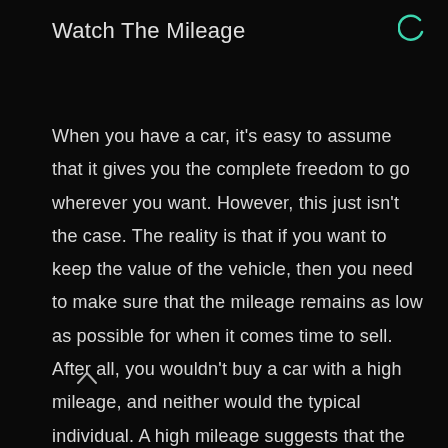Watch The Mileage
When you have a car, it's easy to assume that it gives you the complete freedom to go wherever you want. However, this just isn't the case. The reality is that if you want to keep the value of the vehicle, then you need to make sure that the mileage remains as low as possible for when it comes time to sell. After all, you wouldn't buy a car with a high mileage, and neither would the typical individual. A high mileage suggests that the car has seen a